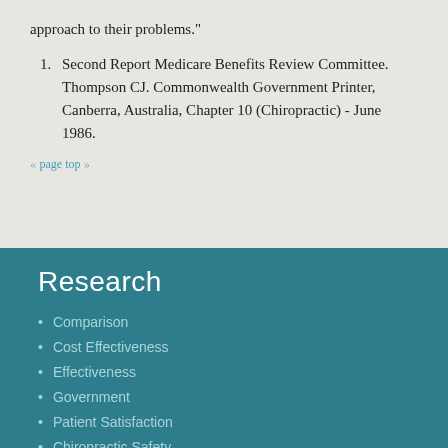approach to their problems."
1. Second Report Medicare Benefits Review Committee. Thompson CJ. Commonwealth Government Printer, Canberra, Australia, Chapter 10 (Chiropractic) - June 1986.
« page top »
Research
Comparison
Cost Effectiveness
Effectiveness
Government
Patient Satisfaction
Chiropractic Safety
Facts and Statistics
Workers' Compensation & Return To Work
Studies